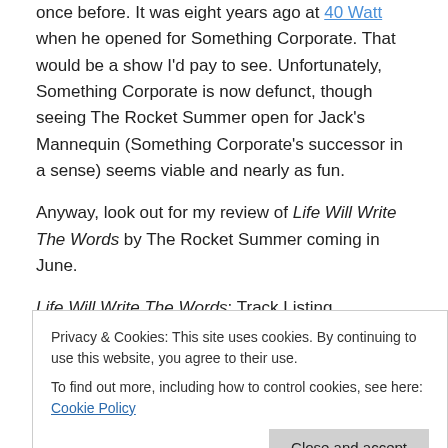once before. It was eight years ago at 40 Watt when he opened for Something Corporate. That would be a show I'd pay to see. Unfortunately, Something Corporate is now defunct, though seeing The Rocket Summer open for Jack's Mannequin (Something Corporate's successor in a sense) seems viable and nearly as fun.
Anyway, look out for my review of Life Will Write The Words by The Rocket Summer coming in June.
Life Will Write The Words: Track Listing
1.  Run and Don't Stop (2:22)
Privacy & Cookies: This site uses cookies. By continuing to use this website, you agree to their use. To find out more, including how to control cookies, see here: Cookie Policy
6.  Just For A Moment Forget Who You Are (4:00)